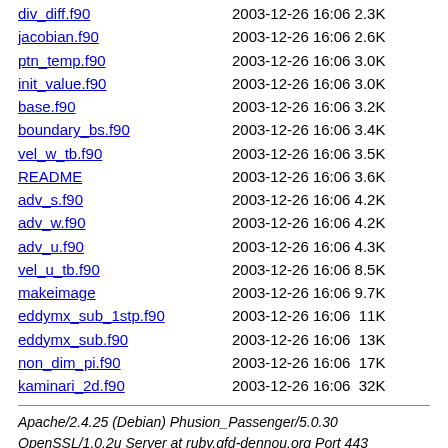div_diff.f90   2003-12-26 16:06 2.3K
jacobian.f90   2003-12-26 16:06 2.6K
ptn_temp.f90   2003-12-26 16:06 3.0K
init_value.f90   2003-12-26 16:06 3.0K
base.f90   2003-12-26 16:06 3.2K
boundary_bs.f90   2003-12-26 16:06 3.4K
vel_w_tb.f90   2003-12-26 16:06 3.5K
README   2003-12-26 16:06 3.6K
adv_s.f90   2003-12-26 16:06 4.2K
adv_w.f90   2003-12-26 16:06 4.2K
adv_u.f90   2003-12-26 16:06 4.3K
vel_u_tb.f90   2003-12-26 16:06 8.5K
makeimage   2003-12-26 16:06 9.7K
eddymx_sub_1stp.f90   2003-12-26 16:06  11K
eddymx_sub.f90   2003-12-26 16:06  13K
non_dim_pi.f90   2003-12-26 16:06  17K
kaminari_2d.f90   2003-12-26 16:06  32K
Apache/2.4.25 (Debian) Phusion_Passenger/5.0.30 OpenSSL/1.0.2u Server at ruby.gfd-dennou.org Port 443